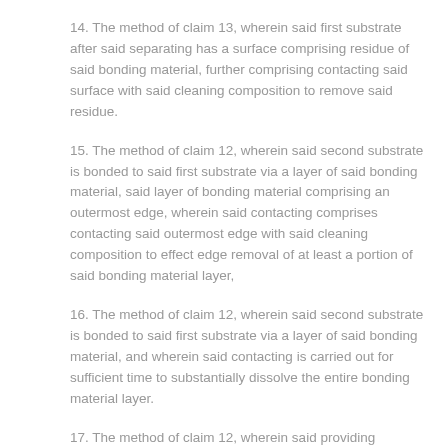14. The method of claim 13, wherein said first substrate after said separating has a surface comprising residue of said bonding material, further comprising contacting said surface with said cleaning composition to remove said residue.
15. The method of claim 12, wherein said second substrate is bonded to said first substrate via a layer of said bonding material, said layer of bonding material comprising an outermost edge, wherein said contacting comprises contacting said outermost edge with said cleaning composition to effect edge removal of at least a portion of said bonding material layer,
16. The method of claim 12, wherein said second substrate is bonded to said first substrate via a layer of said bonding material, and wherein said contacting is carried out for sufficient time to substantially dissolve the entire bonding material layer.
17. The method of claim 12, wherein said providing comprises: